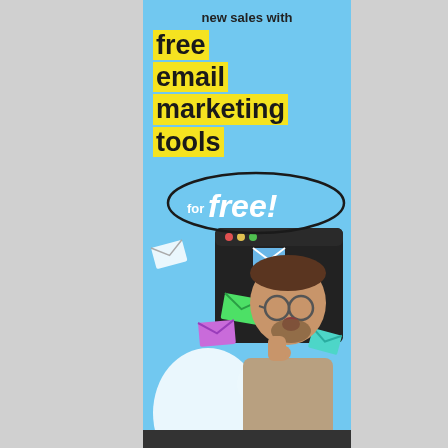new sales with
free email marketing tools
for free!
[Figure (illustration): A surprised bearded man with glasses, surrounded by colorful flying email envelopes, with a browser window mockup behind him. Background is light blue with bubble pattern. Yellow highlighted text block at top reads 'free email marketing tools'. An oval speech-bubble outline contains 'for free!']